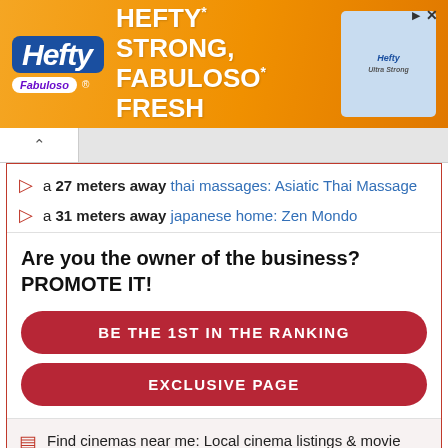[Figure (screenshot): Hefty brand advertisement banner with orange background showing 'HEFTY STRONG, FABULOSO FRESH' slogan with Fabuloso and Hefty logos and product image]
a 27 meters away thai massages: Asiatic Thai Massage
a 31 meters away japanese home: Zen Mondo
Are you the owner of the business? PROMOTE IT!
BE THE 1ST IN THE RANKING
EXCLUSIVE PAGE
Find cinemas near me: Local cinema listings & movie times. See nearest showtimes & what's on at the cinema at your local Everyman Cinema